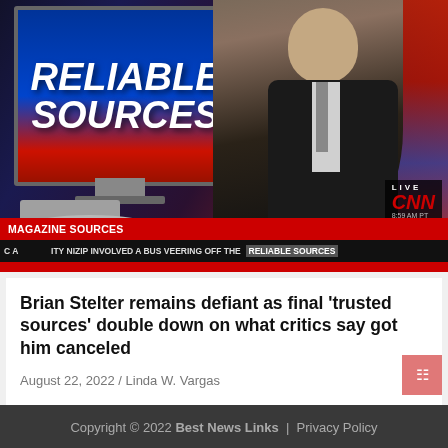[Figure (screenshot): CNN Reliable Sources TV broadcast screenshot showing host Brian Stelter at desk with 'RELIABLE SOURCES' on monitor, CNN LIVE badge, red chyron reading 'MAGAZINE SOURCES', and ticker bar text 'ITY NIZIP INVOLVED A BUS VEERING OFF THE RELIABLE SOURCES', time shown 8:59 AM PT]
Brian Stelter remains defiant as final ‘trusted sources’ double down on what critics say got him canceled
August 22, 2022 / Linda W. Vargas
Copyright © 2022 Best News Links | Privacy Policy